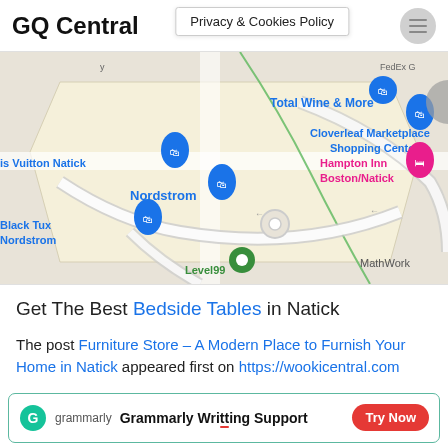GQ Central | Privacy & Cookies Policy
[Figure (map): Google Maps screenshot showing Natick area with pins for Nordstrom, Total Wine & More, Cloverleaf Marketplace Shopping Center, Hampton Inn Boston/Natick, Louis Vuitton Natick, Black Tux Nordstrom, Level99, MathWorks]
Get The Best Bedside Tables in Natick
The post Furniture Store – A Modern Place to Furnish Your Home in Natick appeared first on https://wookicentral.com
[Figure (infographic): Grammarly advertisement banner: Grammarly Writing Support with Try Now button]